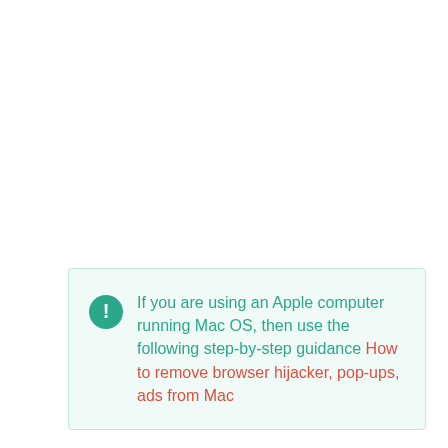If you are using an Apple computer running Mac OS, then use the following step-by-step guidance How to remove browser hijacker, pop-ups, ads from Mac